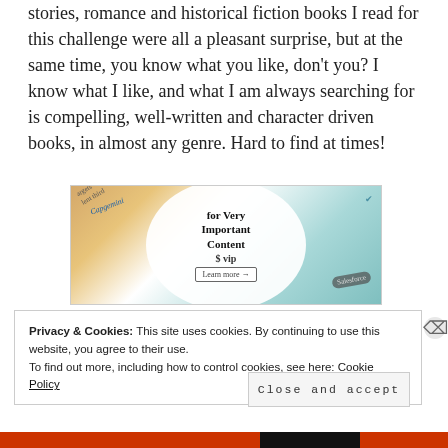stories, romance and historical fiction books I read for this challenge were all a pleasant surprise, but at the same time, you know what you like, don't you? I know what I like, and what I am always searching for is compelling, well-written and character driven books, in almost any genre. Hard to find at times!
[Figure (infographic): WordPress VIP advertisement banner showing 'for Very Important Content' with WordPress VIP logo and 'Learn more' button, overlaid on colorful abstract background with various logos]
Privacy & Cookies: This site uses cookies. By continuing to use this website, you agree to their use.
To find out more, including how to control cookies, see here: Cookie Policy
Close and accept